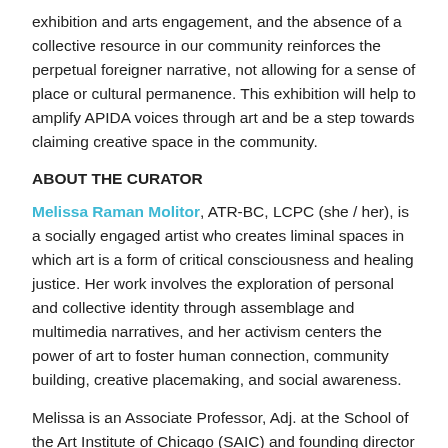exhibition and arts engagement, and the absence of a collective resource in our community reinforces the perpetual foreigner narrative, not allowing for a sense of place or cultural permanence. This exhibition will help to amplify APIDA voices through art and be a step towards claiming creative space in the community.
ABOUT THE CURATOR
Melissa Raman Molitor, ATR-BC, LCPC (she / her), is a socially engaged artist who creates liminal spaces in which art is a form of critical consciousness and healing justice. Her work involves the exploration of personal and collective identity through assemblage and multimedia narratives, and her activism centers the power of art to foster human connection, community building, creative placemaking, and social awareness.
Melissa is an Associate Professor, Adj. at the School of the Art Institute of Chicago (SAIC) and founding director of Kids Create Change, a non-profit organization that utilizes art to promote sociocultural awareness, build community, and engage young people in self-advocacy and creative action to advance its mission. She is...